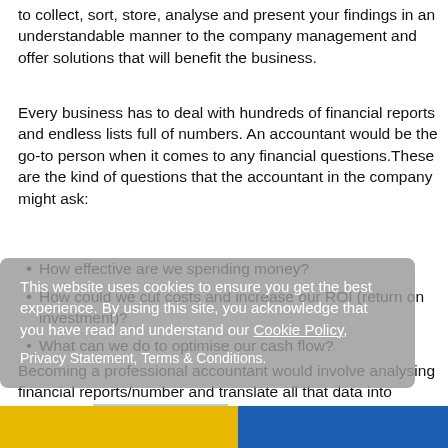to collect, sort, store, analyse and present your findings in an understandable manner to the company management and offer solutions that will benefit the business.
Every business has to deal with hundreds of financial reports and endless lists full of numbers. An accountant would be the go-to person when it comes to any financial questions. These are the kind of questions that the accountant in the company might ask:
How effective are we spending money?
How could we cut costs and increase our ROI (return on investment)?
What can we do to optimise our cash flow?
Becoming a professional accountant would involve analysing financial reports/number and translate all that data into usable information for decision making.